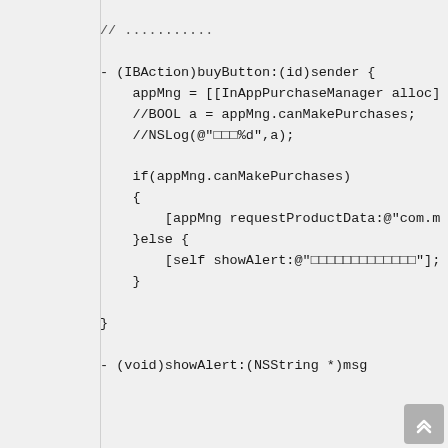Code snippet showing Objective-C IBAction and void methods with InAppPurchaseManager usage